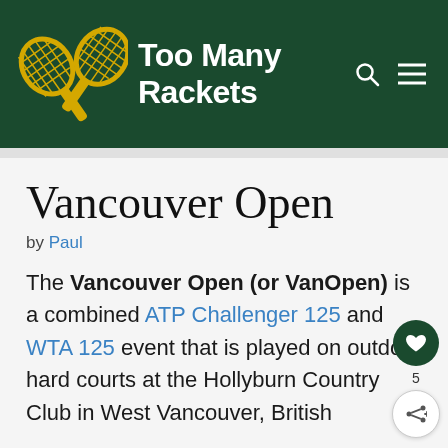Too Many Rackets
Vancouver Open
by Paul
The Vancouver Open (or VanOpen) is a combined ATP Challenger 125 and WTA 125 event that is played on outdoor hard courts at the Hollyburn Country Club in West Vancouver, British